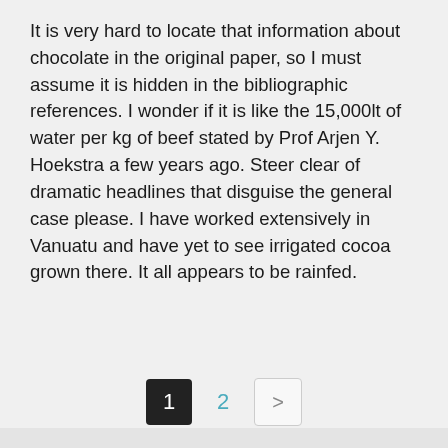It is very hard to locate that information about chocolate in the original paper, so I must assume it is hidden in the bibliographic references. I wonder if it is like the 15,000lt of water per kg of beef stated by Prof Arjen Y. Hoekstra a few years ago. Steer clear of dramatic headlines that disguise the general case please. I have worked extensively in Vanuatu and have yet to see irrigated cocoa grown there. It all appears to be rainfed.
Reply
1  2  >
What do you think?
Enter your comment here...